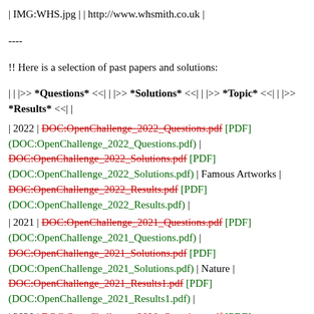| IMG:WHS.jpg | | http://www.whsmith.co.uk |
----
!! Here is a selection of past papers and solutions:
| | |>> *Questions* <<| | |>> *Solutions* <<| | |>> *Topic* <<| | |>> *Results* <<| |
| 2022 | DOC:OpenChallenge_2022_Questions.pdf [PDF] (DOC:OpenChallenge_2022_Questions.pdf) | DOC:OpenChallenge_2022_Solutions.pdf [PDF] (DOC:OpenChallenge_2022_Solutions.pdf) | Famous Artworks | DOC:OpenChallenge_2022_Results.pdf [PDF] (DOC:OpenChallenge_2022_Results.pdf) |
| 2021 | DOC:OpenChallenge_2021_Questions.pdf [PDF] (DOC:OpenChallenge_2021_Questions.pdf) | DOC:OpenChallenge_2021_Solutions.pdf [PDF] (DOC:OpenChallenge_2021_Solutions.pdf) | Nature | DOC:OpenChallenge_2021_Results1.pdf [PDF] (DOC:OpenChallenge_2021_Results1.pdf) |
| 2020 | DOC:OpenChallenge_2020_Questions.pdf [PDF] (DOC:OpenChallenge_2020_Questions.pdf) |